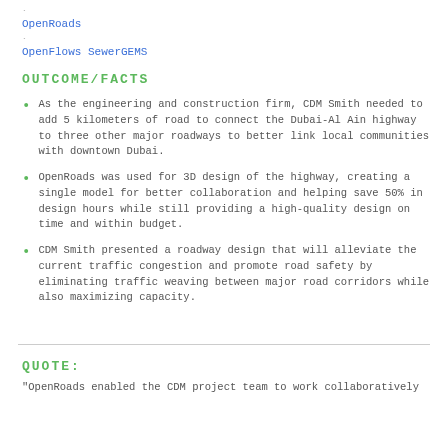OpenRoads
OpenFlows SewerGEMS
OUTCOME/FACTS
As the engineering and construction firm, CDM Smith needed to add 5 kilometers of road to connect the Dubai-Al Ain highway to three other major roadways to better link local communities with downtown Dubai.
OpenRoads was used for 3D design of the highway, creating a single model for better collaboration and helping save 50% in design hours while still providing a high-quality design on time and within budget.
CDM Smith presented a roadway design that will alleviate the current traffic congestion and promote road safety by eliminating traffic weaving between major road corridors while also maximizing capacity.
QUOTE:
"OpenRoads enabled the CDM project team to work collaboratively